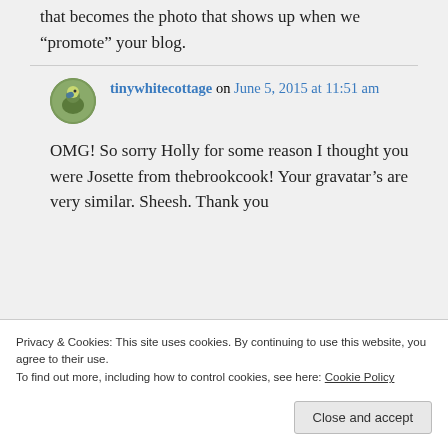that becomes the photo that shows up when we “promote” your blog.
tinywhitecottage on June 5, 2015 at 11:51 am
OMG! So sorry Holly for some reason I thought you were Josette from thebrookcook! Your gravatar’s are very similar. Sheesh. Thank you
Privacy & Cookies: This site uses cookies. By continuing to use this website, you agree to their use.
To find out more, including how to control cookies, see here: Cookie Policy